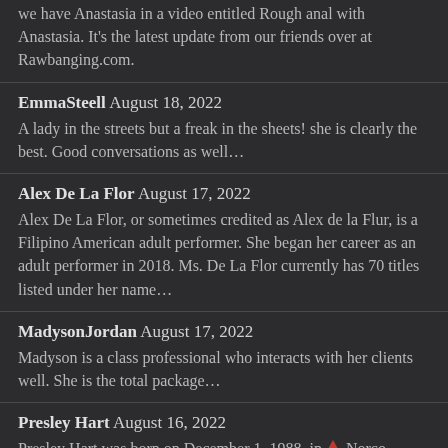we have Anastasia in a video entitled Rough anal with Anastasia. It's the latest update from our friends over at Rawbanging.com.
EmmaSteell August 18, 2022 — A lady in the streets but a freak in the sheets! she is clearly the best. Good conversations as well…
Alex De La Flor August 17, 2022 — Alex De La Flor, or sometimes credited as Alex de la Flur, is a Filipino American adult performer. She began her career as an adult performer in 2018. Ms. De La Flor currently has 70 titles listed under her name…
MadysonJordan August 17, 2022 — Madyson is a class professional who interacts with her clients well. She is the total package…
Presley Hart August 16, 2022 — Presley Hart was born on December 1, 1988, in Norco, California. She began her career as an